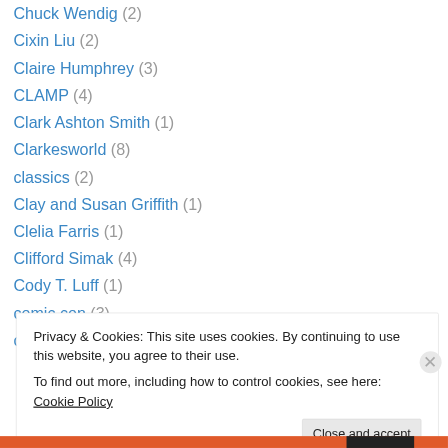Chuck Wendig (2)
Cixin Liu (2)
Claire Humphrey (3)
CLAMP (4)
Clark Ashton Smith (1)
Clarkesworld (8)
classics (2)
Clay and Susan Griffith (1)
Clelia Farris (1)
Clifford Simak (4)
Cody T. Luff (1)
comic con (3)
coming of age (1)
Privacy & Cookies: This site uses cookies. By continuing to use this website, you agree to their use. To find out more, including how to control cookies, see here: Cookie Policy
Close and accept